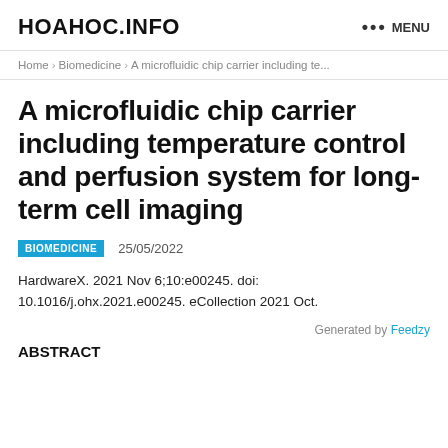HOAHOC.INFO  ••• MENU
Home › Biomedicine › A microfluidic chip carrier including te...
A microfluidic chip carrier including temperature control and perfusion system for long-term cell imaging
BIOMEDICINE  25/05/2022
HardwareX. 2021 Nov 6;10:e00245. doi: 10.1016/j.ohx.2021.e00245. eCollection 2021 Oct.
Generated by Feedzy
ABSTRACT